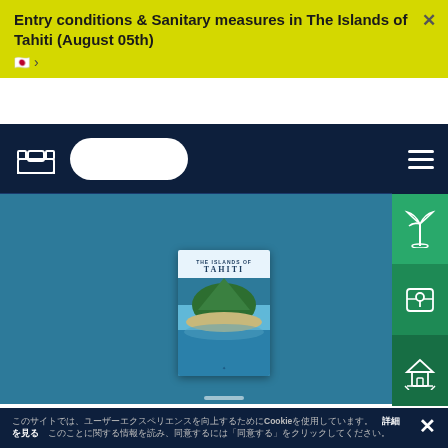Entry conditions & Sanitary measures in The Islands of Tahiti (August 05th)
[Figure (screenshot): Navigation bar with bed icon, search pill button with Japanese characters, and hamburger menu on dark navy background]
[Figure (photo): Tahiti travel brochure cover showing aerial view of tropical island with turquoise lagoon and white sand beach, centered on blue background hero section]
[Figure (screenshot): Right sidebar with three green icon buttons: palm tree island, map/location pin, and overwater bungalow icons]
Cookie consent banner with Japanese text and Cookie keyword in bold, with close X button